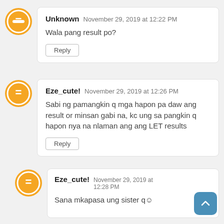Unknown  November 29, 2019 at 12:22 PM
Wala pang result po?
Reply
Eze_cute!  November 29, 2019 at 12:26 PM
Sabi ng pamangkin q mga hapon pa daw ang result or minsan gabi na, kc ung sa pangkin q hapon nya na nlaman ang ang LET results
Reply
Eze_cute!  November 29, 2019 at 12:28 PM
Sana mkapasa ung sister q☺